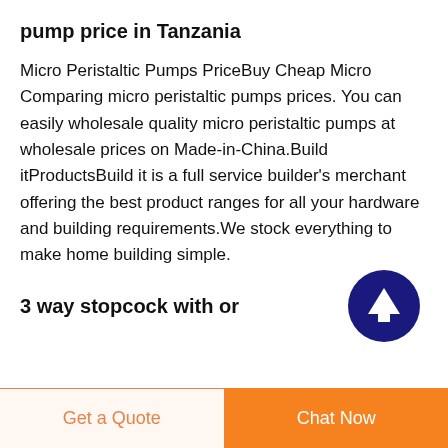pump price in Tanzania
Micro Peristaltic Pumps PriceBuy Cheap Micro Comparing micro peristaltic pumps prices. You can easily wholesale quality micro peristaltic pumps at wholesale prices on Made-in-China.Build itProductsBuild it is a full service builder's merchant offering the best product ranges for all your hardware and building requirements.We stock everything to make home building simple.
3 way stopcock with or
[Figure (illustration): Dark navy blue circular button with an upward-pointing arrow icon (scroll to top button)]